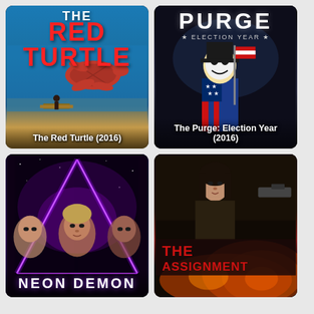[Figure (illustration): Movie poster for The Red Turtle (2016) - animated film with blue ocean background, red turtle swimming, person on raft]
The Red Turtle (2016)
[Figure (photo): Movie poster for The Purge: Election Year (2016) - dark background with masked figure in Uncle Sam costume]
The Purge: Election Year (2016)
[Figure (photo): Movie poster for Neon Demon - purple/pink neon triangle with women's faces, dark background]
[Figure (photo): Movie poster for The Assignment - woman with gun, red title text at bottom]